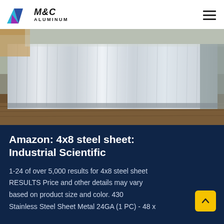M&C ALUMINUM
[Figure (photo): Stacked aluminum or stainless steel sheet metal panels in plastic wrapping on a wooden surface, industrial warehouse setting]
Amazon: 4x8 steel sheet: Industrial Scientific
1-24 of over 5,000 results for 4x8 steel sheet RESULTS Price and other details may vary based on product size and color. 430 Stainless Steel Sheet Metal 24GA (1 PC) - 48 x